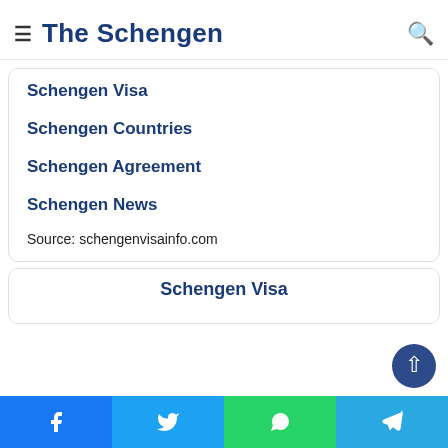...used to please Explanation the current entry rules
The Schengen
Schengen Visa
Schengen Countries
Schengen Agreement
Schengen News
Source: schengenvisainfo.com
Schengen Visa